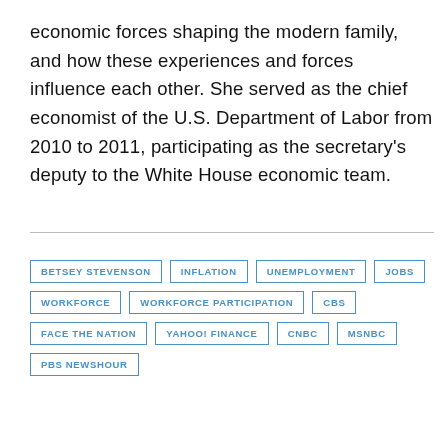economic forces shaping the modern family, and how these experiences and forces influence each other. She served as the chief economist of the U.S. Department of Labor from 2010 to 2011, participating as the secretary's deputy to the White House economic team.
BETSEY STEVENSON
INFLATION
UNEMPLOYMENT
JOBS
WORKFORCE
WORKFORCE PARTICIPATION
CBS
FACE THE NATION
YAHOO! FINANCE
CNBC
MSNBC
PBS NEWSHOUR